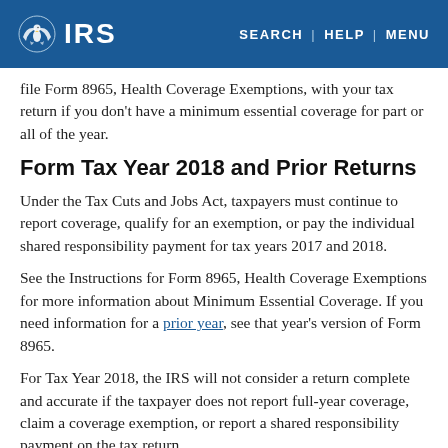IRS — SEARCH | HELP | MENU
file Form 8965, Health Coverage Exemptions, with your tax return if you don't have a minimum essential coverage for part or all of the year.
Form Tax Year 2018 and Prior Returns
Under the Tax Cuts and Jobs Act, taxpayers must continue to report coverage, qualify for an exemption, or pay the individual shared responsibility payment for tax years 2017 and 2018.
See the Instructions for Form 8965, Health Coverage Exemptions for more information about Minimum Essential Coverage. If you need information for a prior year, see that year's version of Form 8965.
For Tax Year 2018, the IRS will not consider a return complete and accurate if the taxpayer does not report full-year coverage, claim a coverage exemption, or report a shared responsibility payment on the tax return.